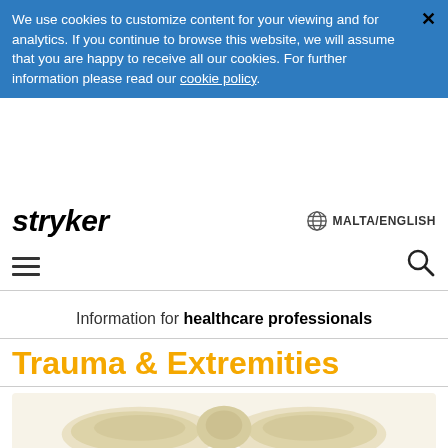We use cookies to customize content for your viewing and for analytics. If you continue to browse this website, we will assume that you are happy to receive all our cookies. For further information please read our cookie policy.
[Figure (logo): Stryker company logo in bold italic black text]
MALTA/ENGLISH
[Figure (other): Hamburger menu icon (three horizontal lines) on the left and search (magnifying glass) icon on the right]
Information for healthcare professionals
Trauma & Extremities
[Figure (photo): Bone anatomy image showing pelvis/hip bones on a light beige background]